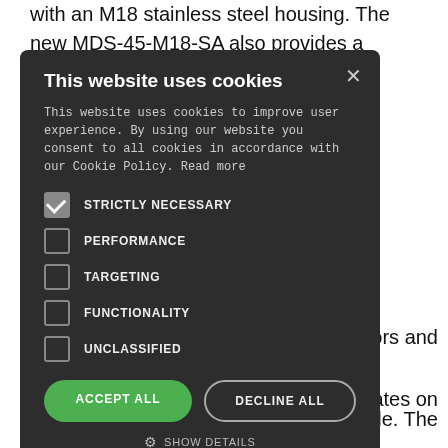with an M18 stainless steel housing. The new MDS-45-M18-SA also provides a longer measuring
[Figure (screenshot): Cookie consent modal dialog with dark background showing title 'This website uses cookies', body text about cookie policy, checkboxes for STRICTLY NECESSARY (checked), PERFORMANCE, TARGETING, FUNCTIONALITY, UNCLASSIFIED, plus ACCEPT ALL and DECLINE ALL buttons and SHOW DETAILS option.]
nding on the frontal al groove uring system the sensor ve e MDS-45- uators and operates on inciple. The current, his magnetic
field induces eddy currents in the electrically